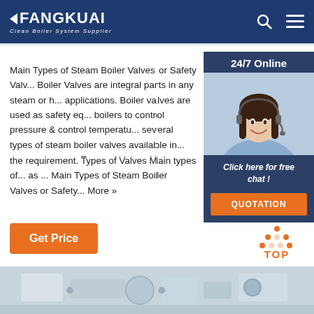FANGKUAI — Clean Boiler System Supplier
[Figure (photo): Customer service agent photo with 24/7 Online label, Click here for free chat! text, and QUOTATION button]
Main Types of Steam Boiler Valves or Safety Valv... Boiler Valves are integral parts in any steam or h... applications. Boiler valves are used as safety eq... boilers to control pressure & control temperatu... several types of steam boiler valves available in... the requirement. Types of Valves Main types of... as ... Main Types of Steam Boiler Valves or Safety... More »
[Figure (illustration): Get Price button (orange)]
[Figure (illustration): TOP scroll-to-top button with orange dots icon]
[Figure (photo): Bottom strip showing industrial boiler valve equipment]